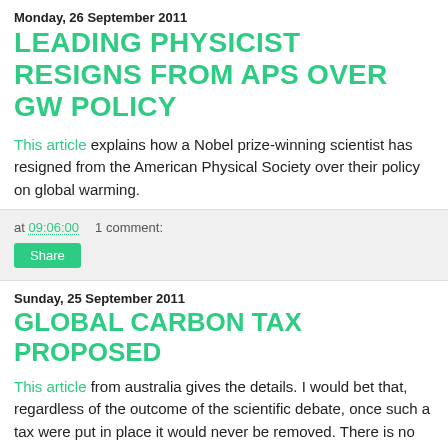Monday, 26 September 2011
LEADING PHYSICIST RESIGNS FROM APS OVER GW POLICY
This article explains how a Nobel prize-winning scientist has resigned from the American Physical Society over their policy on global warming.
at 09:06:00    1 comment:
Share
Sunday, 25 September 2011
GLOBAL CARBON TAX PROPOSED
This article from australia gives the details. I would bet that, regardless of the outcome of the scientific debate, once such a tax were put in place it would never be removed. There is no limit to the amount of tax these transnational bodies will consume.